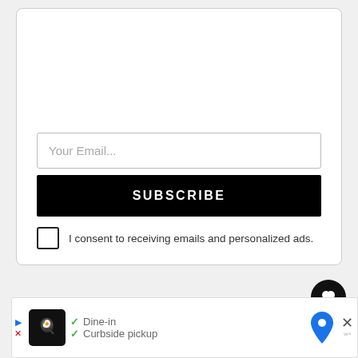Subscribe to A Couple Cooks!
Get the latest recipes and more from A Couple Cooks -- straight to your inbox.
[Figure (screenshot): Email subscription form with input field labeled 'Your Email...', a black SUBSCRIBE button, and a checkbox with text 'I consent to receiving emails and personalized ads.']
[Figure (infographic): Social sidebar with heart/favorite button, count '120', and share button with plus icon]
[Figure (screenshot): Ad banner at bottom showing a restaurant with Dine-in and Curbside pickup options, map pin icon, and close button]